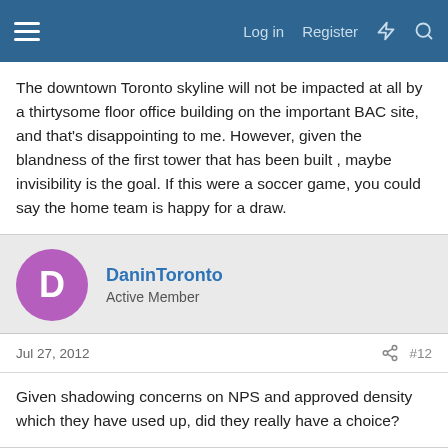Log in   Register
The downtown Toronto skyline will not be impacted at all by a thirtysome floor office building on the important BAC site, and that's disappointing to me. However, given the blandness of the first tower that has been built , maybe invisibility is the goal. If this were a soccer game, you could say the home team is happy for a draw.
DaninToronto
Active Member
Jul 27, 2012
#12
Given shadowing concerns on NPS and approved density which they have used up, did they really have a choice?
flonicky
Active Member